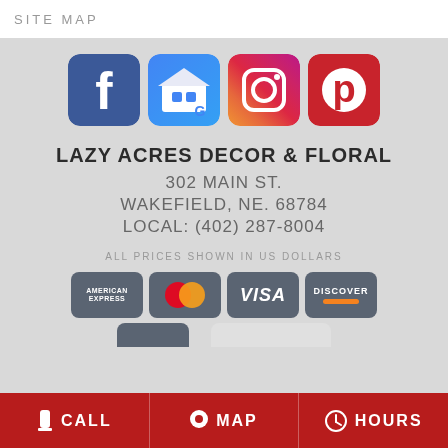SITE MAP
[Figure (logo): Four social media icons in a row: Facebook (blue), Google My Business (blue/white), Instagram (gradient), Pinterest (red)]
LAZY ACRES DECOR & FLORAL
302 MAIN ST.
WAKEFIELD, NE. 68784
LOCAL: (402) 287-8004
ALL PRICES SHOWN IN US DOLLARS
[Figure (logo): Payment method icons: American Express, Mastercard, Visa, Discover (partially visible row below)]
CALL   MAP   HOURS